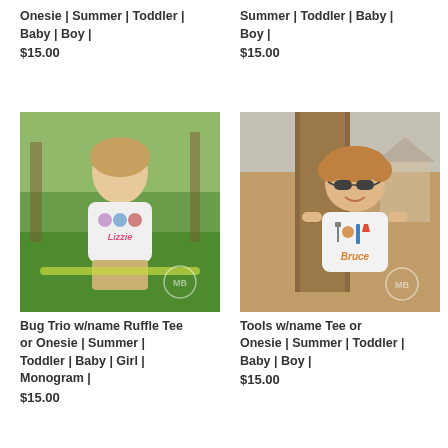Onesie | Summer | Toddler | Baby | Boy |
$15.00
Summer | Toddler | Baby | Boy |
$15.00
[Figure (photo): Young girl sitting outdoors wearing a white tee/onesie with bug trio design and name 'Lizzie']
Bug Trio w/name Ruffle Tee or Onesie | Summer | Toddler | Baby | Girl | Monogram |
$15.00
[Figure (photo): Young boy leaning against a tree outdoors wearing a white tee with tools design and name 'Bruce', wearing sunglasses]
Tools w/name Tee or Onesie | Summer | Toddler | Baby | Boy |
$15.00